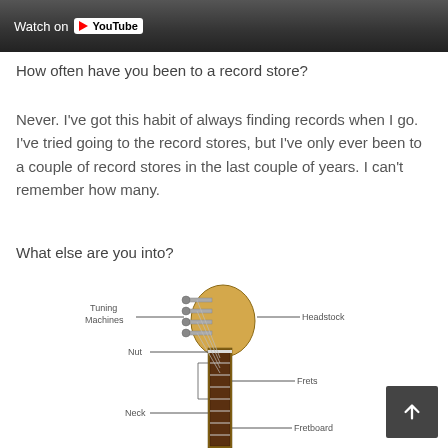[Figure (screenshot): YouTube video banner with 'Watch on YouTube' text and logo overlay on a dark video thumbnail]
How often have you been to a record store?
Never. I've got this habit of always finding records when I go. I've tried going to the record stores, but I've only ever been to a couple of record stores in the last couple of years. I can't remember how many.
What else are you into?
[Figure (illustration): Diagram of a guitar neck and headstock with labeled parts: Tuning Machines, Headstock, Nut, Frets, Neck, Fretboard]